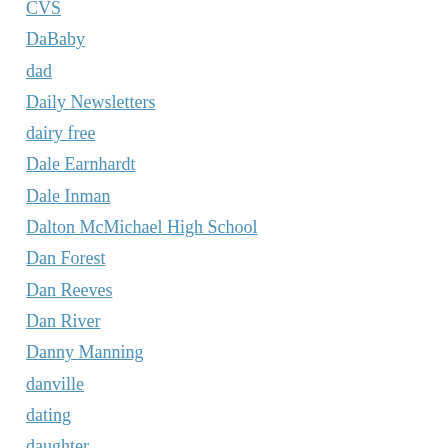CVS
DaBaby
dad
Daily Newsletters
dairy free
Dale Earnhardt
Dale Inman
Dalton McMichael High School
Dan Forest
Dan Reeves
Dan River
Danny Manning
danville
dating
daughter